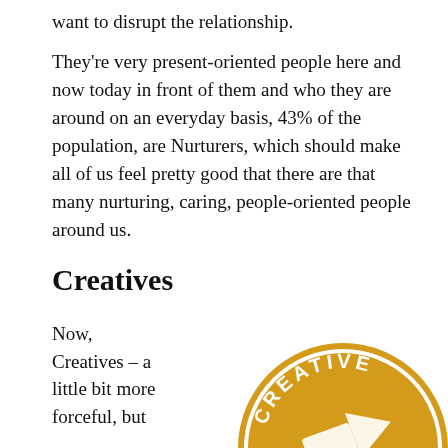want to disrupt the relationship.
They're very present-oriented people here and now today in front of them and who they are around on an everyday basis, 43% of the population, are Nurturers, which should make all of us feel pretty good that there are that many nurturing, caring, people-oriented people around us.
Creatives
Now, Creatives – a little bit more forceful, but
[Figure (illustration): A golden/amber circular badge with 'CREATIVE' text and a logo mark, partially visible at bottom right of the page.]